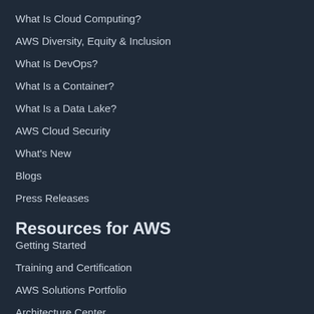What Is Cloud Computing?
AWS Diversity, Equity & Inclusion
What Is DevOps?
What Is a Container?
What Is a Data Lake?
AWS Cloud Security
What's New
Blogs
Press Releases
Resources for AWS
Getting Started
Training and Certification
AWS Solutions Portfolio
Architecture Center
Product and Technical FAQs